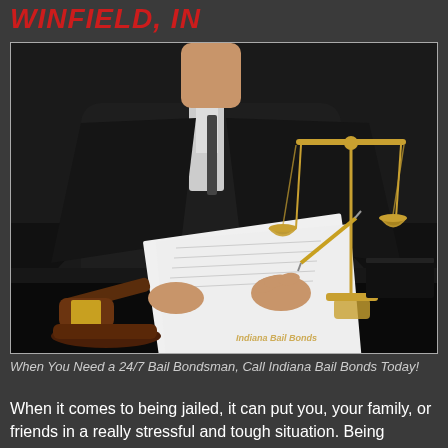Winfield, IN
[Figure (photo): A judge in black robes sitting at a desk, writing on paper with a pen. A wooden gavel is visible on the left side and a golden scales of justice on the right side. Photo has a dark background. Watermark reads 'Indiana Bail Bonds' in bottom right corner.]
When You Need a 24/7 Bail Bondsman, Call Indiana Bail Bonds Today!
When it comes to being jailed, it can put you, your family, or friends in a really stressful and tough situation. Being arrested doesn't just make it impossible to work and be with your family, it also makes different everyday life